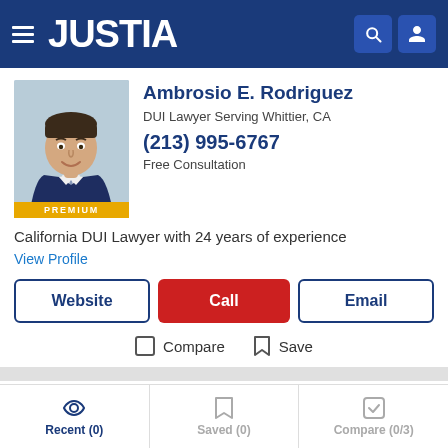JUSTIA
Ambrosio E. Rodriguez
DUI Lawyer Serving Whittier, CA
(213) 995-6767
Free Consultation
California DUI Lawyer with 24 years of experience
View Profile
Website | Call | Email
Compare  Save
Robert A. Hankoff
Recent (0)  Saved (0)  Compare (0/3)